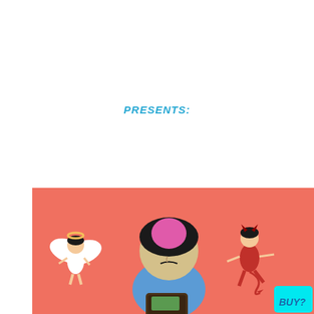PRESENTS:
[Figure (illustration): Cartoon illustration on a coral/salmon orange background showing a woman with pink and black hair wearing a blue shirt, looking down at her wallet with a worried expression. A small angel figure with white wings and a halo floats to her left, and a small devil figure in red with horns and a tail floats to her right. A cyan/blue screen showing 'BUY?' is visible in the bottom right corner.]